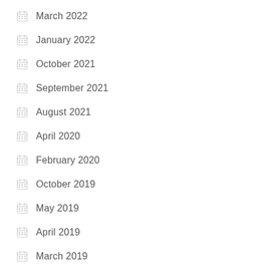March 2022
January 2022
October 2021
September 2021
August 2021
April 2020
February 2020
October 2019
May 2019
April 2019
March 2019
February 2019